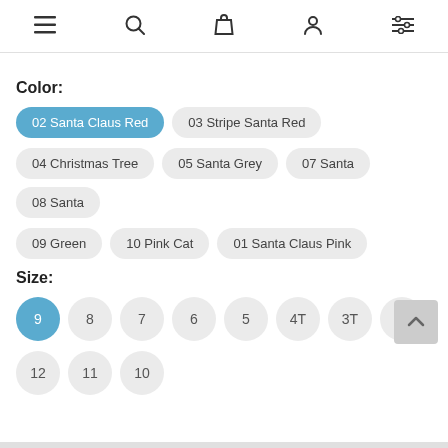[Figure (screenshot): Navigation bar with menu, search, bag, user, and filter icons]
Color:
02 Santa Claus Red (selected)
03 Stripe Santa Red
04 Christmas Tree
05 Santa Grey
07 Santa
08 Santa
09 Green
10 Pink Cat
01 Santa Claus Pink
Size:
9 (selected)
8
7
6
5
4T
3T
2T
12
11
10